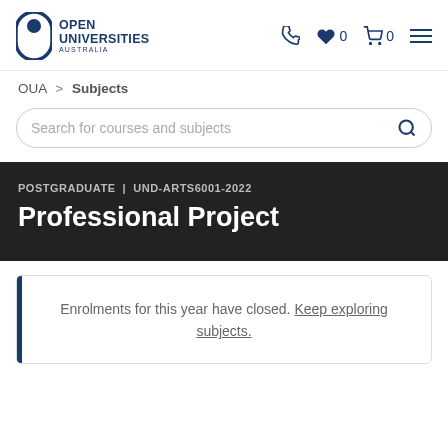[Figure (logo): Open Universities Australia logo with pill/capsule icon in dark blue]
phone icon | heart icon 0 | cart icon 0 | menu icon
OUA > Subjects
Search for courses and subjects
POSTGRADUATE | UND-ARTS6001-2022
Professional Project
Enrolments for this year have closed. Keep exploring subjects.